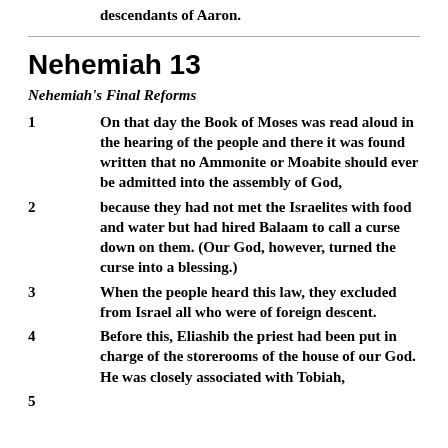descendants of Aaron.
Nehemiah 13
Nehemiah's Final Reforms
1  On that day the Book of Moses was read aloud in the hearing of the people and there it was found written that no Ammonite or Moabite should ever be admitted into the assembly of God,
2  because they had not met the Israelites with food and water but had hired Balaam to call a curse down on them. (Our God, however, turned the curse into a blessing.)
3  When the people heard this law, they excluded from Israel all who were of foreign descent.
4  Before this, Eliashib the priest had been put in charge of the storerooms of the house of our God. He was closely associated with Tobiah,
5